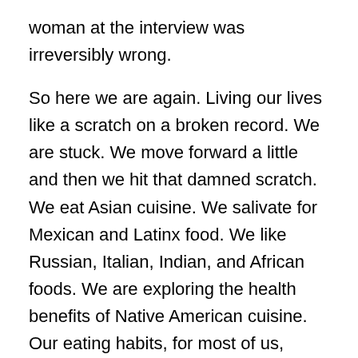woman at the interview was irreversibly wrong.
So here we are again. Living our lives like a scratch on a broken record. We are stuck. We move forward a little and then we hit that damned scratch. We eat Asian cuisine. We salivate for Mexican and Latinx food. We like Russian, Italian, Indian, and African foods. We are exploring the health benefits of Native American cuisine. Our eating habits, for most of us, reflect our acceptance of a pluralistic society. We also get treated by physicians, taught by professors, and interact with people during business and leisure with people from various countries, cultures, ethnicities, and religions.
Curious.
Many continue to balk at accepting a reality of a vast and